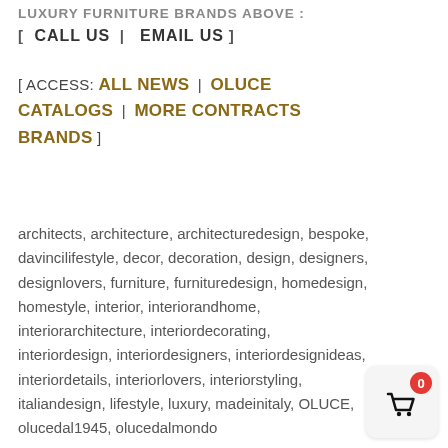LUXURY FURNITURE BRANDS ABOVE : [ CALL US | EMAIL US ]
[ ACCESS: ALL NEWS | OLUCE CATALOGS | MORE CONTRACTS BRANDS ]
architects, architecture, architecturedesign, bespoke, davincilifestyle, decor, decoration, design, designers, designlovers, furniture, furnituredesign, homedesign, homestyle, interior, interiorandhome, interiorarchitecture, interiordecorating, interiordesign, interiordesigners, interiordesignideas, interiordetails, interiorlovers, interiorstyling, italiandesign, lifestyle, luxury, madeinitaly, OLUCE, olucedal1945, olucedalmondo
[Figure (other): Shopping cart widget with red badge showing 0]